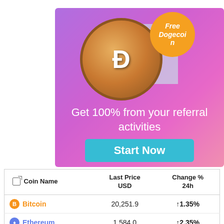[Figure (illustration): Dogecoin promotional ad banner with purple/pink gradient background. Features a Doge (Shiba Inu dog) coin image, an orange badge reading 'Free Dogecoin', text 'Get 100% from your referral activities', and a teal 'Start Now' button.]
| Coin Name | Last Price USD | Change % 24h |
| --- | --- | --- |
| Bitcoin | 20,251.9 | ↑1.35% |
| Ethereum | 1,584.0 | ↑2.35% |